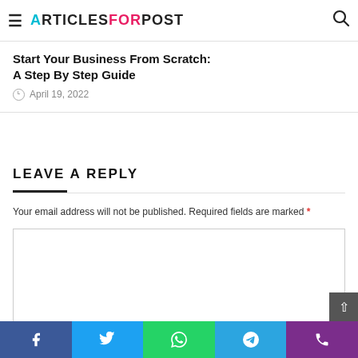ArticlesForPost
Start Your Business From Scratch: A Step By Step Guide
April 19, 2022
LEAVE A REPLY
Your email address will not be published. Required fields are marked *
[Figure (other): Comment text area input box]
Social share buttons: Facebook, Twitter, WhatsApp, Telegram, Phone